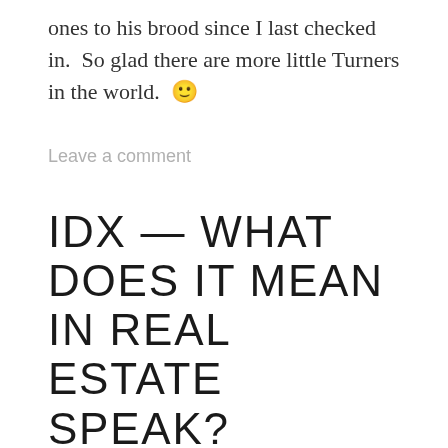ones to his brood since I last checked in.  So glad there are more little Turners in the world.  🙂
Leave a comment
IDX — WHAT DOES IT MEAN IN REAL ESTATE SPEAK?
Posted on January 2, 2010
This article was originally posted on